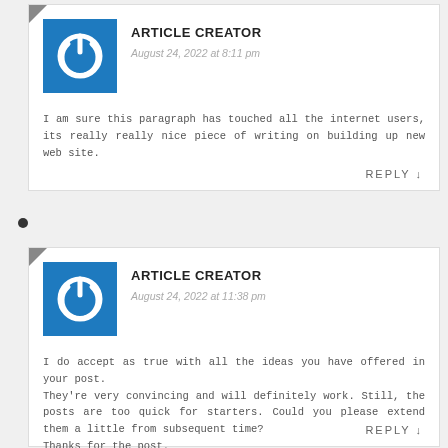[Figure (illustration): Blue square avatar with white power button icon]
ARTICLE CREATOR
August 24, 2022 at 8:11 pm
I am sure this paragraph has touched all the internet users, its really really nice piece of writing on building up new web site.
REPLY ↓
[Figure (illustration): Blue square avatar with white power button icon]
ARTICLE CREATOR
August 24, 2022 at 11:38 pm
I do accept as true with all the ideas you have offered in your post.
They're very convincing and will definitely work. Still, the posts are too quick for starters. Could you please extend them a little from subsequent time?
Thanks for the post.
REPLY ↓